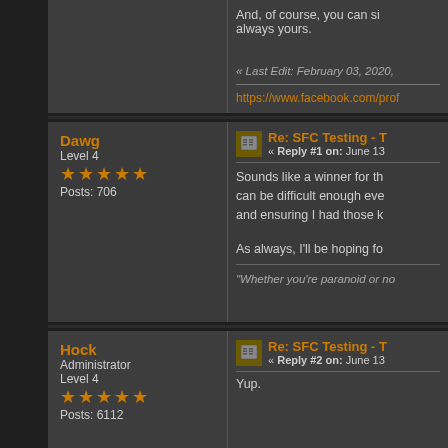And, of course, you can si always yours.
« Last Edit: February 03, 2020,
https://www.facebook.com/prof
Dawg
Level 4
★★★★★
Posts: 706
Re: SFC Testing - T
« Reply #1 on: June 13
Sounds like a winner for th can be difficult enough eve and ensuring I had those k
As always, I'll be hoping fo
"Whether you're paranoid or no
Hock
Administrator
Level 4
★★★★★
Posts: 6112
Re: SFC Testing - T
« Reply #2 on: June 13
Yup.